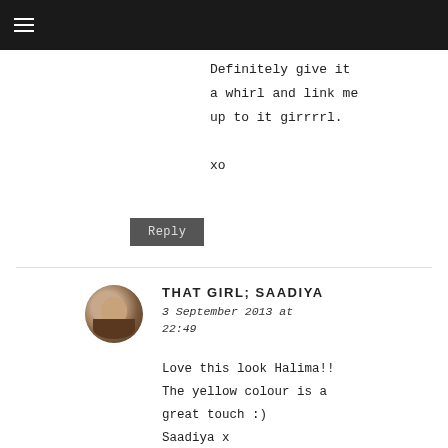≡
Definitely give it a whirl and link me up to it girrrrl.

xo
Reply
[Figure (photo): Circular avatar photo of a person (Saadiya)]
THAT GIRL; SAADIYA
3 September 2013 at 22:49
Love this look Halima!! The yellow colour is a great touch :) Saadiya x